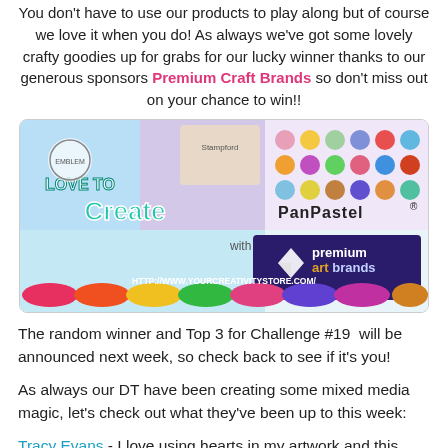You don't have to use our products to play along but of course we love it when you do! As always we've got some lovely crafty goodies up for grabs for our lucky winner thanks to our generous sponsors Premium Craft Brands so don't miss out on your chance to win!!
[Figure (illustration): Sponsor banner for Premium Art Brands featuring PanPastel logo, Love To Create text in teal graffiti style, premium art brands logo with diamond icon, and colorful PanPastel pans. URL: HTTP://WWW.YOURCREATIVITYSTORE.COM/]
The random winner and Top 3 for Challenge #19 will be announced next week, so check back to see if it's you!
As always our DT have been creating some mixed media magic, let's check out what they've been up to this week:
Tracy Evans - I love using hearts in my artwork and this week I thought I would use a heart set against a mixed